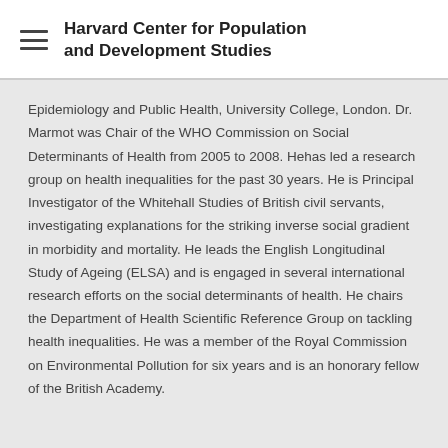Harvard Center for Population and Development Studies
Epidemiology and Public Health, University College, London. Dr. Marmot was Chair of the WHO Commission on Social Determinants of Health from 2005 to 2008. Hehas led a research group on health inequalities for the past 30 years. He is Principal Investigator of the Whitehall Studies of British civil servants, investigating explanations for the striking inverse social gradient in morbidity and mortality. He leads the English Longitudinal Study of Ageing (ELSA) and is engaged in several international research efforts on the social determinants of health. He chairs the Department of Health Scientific Reference Group on tackling health inequalities. He was a member of the Royal Commission on Environmental Pollution for six years and is an honorary fellow of the British Academy.